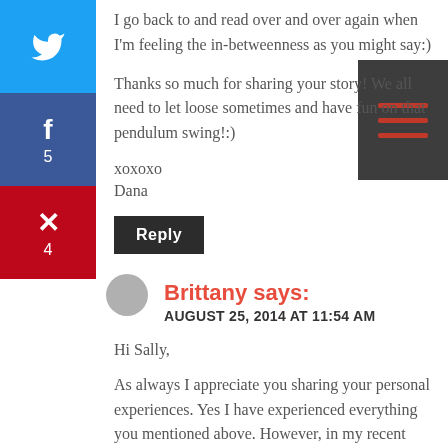I go back to and read over and over again when I'm feeling the in-betweenness as you might say:)
Thanks so much for sharing your story! We all need to let loose sometimes and have fun on that pendulum swing!:)
xoxoxo
Dana
Reply
Brittany says:
AUGUST 25, 2014 AT 11:54 AM
Hi Sally,
As always I appreciate you sharing your personal experiences. Yes I have experienced everything you mentioned above. However, in my recent spiritual quest and research I have discovered that the swings of the pendulum do not have to be so drastic, that we really can find emotional healing.